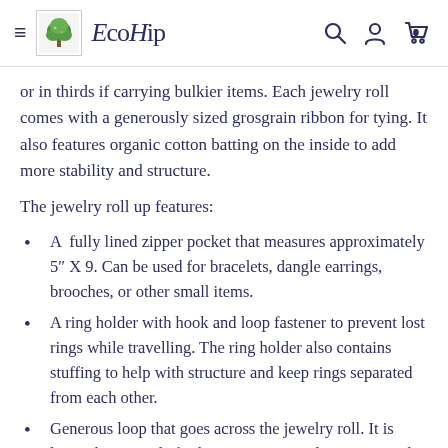EcoHip
or in thirds if carrying bulkier items. Each jewelry roll comes with a generously sized grosgrain ribbon for tying. It also features organic cotton batting on the inside to add more stability and structure.
The jewelry roll up features:
A fully lined zipper pocket that measures approximately 5" X 9. Can be used for bracelets, dangle earrings, brooches, or other small items.
A ring holder with hook and loop fastener to prevent lost rings while travelling. The ring holder also contains stuffing to help with structure and keep rings separated from each other.
Generous loop that goes across the jewelry roll. It is layered to provide further structure. Stud earrings can be attached...